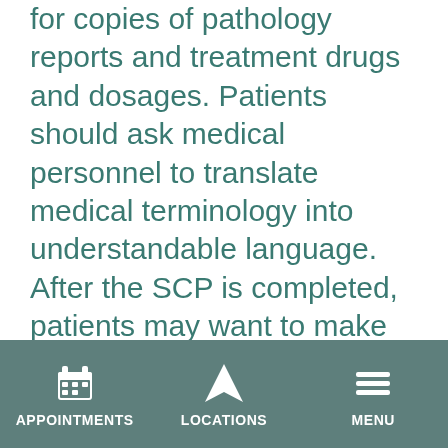for copies of pathology reports and treatment drugs and dosages. Patients should ask medical personnel to translate medical terminology into understandable language. After the SCP is completed, patients may want to make copies and have them available for other healthcare providers and family members. As time progresses, survivors should ask for updates at followup oncology appointments. If their cancer center implements its own SCP,
APPOINTMENTS | LOCATIONS | MENU